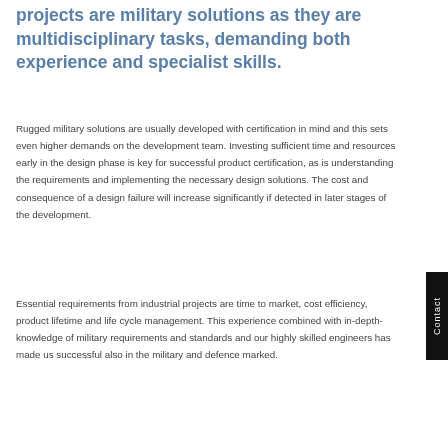projects are military solutions as they are multidisciplinary tasks, demanding both experience and specialist skills.
Rugged military solutions are usually developed with certification in mind and this sets even higher demands on the development team. Investing sufficient time and resources early in the design phase is key for successful product certification, as is understanding the requirements and implementing the necessary design solutions. The cost and consequence of a design failure will increase significantly if detected in later stages of the development.
Essential requirements from industrial projects are time to market, cost efficiency, product lifetime and life cycle management. This experience combined with in-depth-knowledge of military requirements and standards and our highly skilled engineers has made us successful also in the military and defence marked.